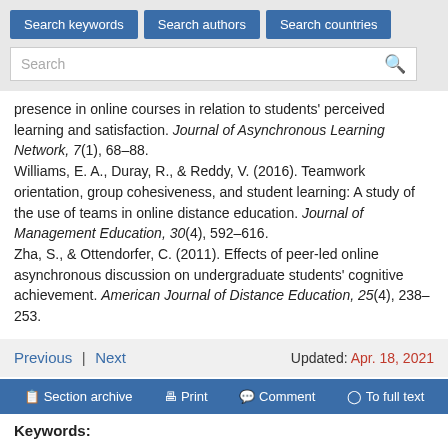Search keywords | Search authors | Search countries | Search
presence in online courses in relation to students' perceived learning and satisfaction. Journal of Asynchronous Learning Network, 7(1), 68–88.
Williams, E. A., Duray, R., & Reddy, V. (2016). Teamwork orientation, group cohesiveness, and student learning: A study of the use of teams in online distance education. Journal of Management Education, 30(4), 592–616.
Zha, S., & Ottendorfer, C. (2011). Effects of peer-led online asynchronous discussion on undergraduate students' cognitive achievement. American Journal of Distance Education, 25(4), 238–253.
Previous | Next   Updated: Apr. 18, 2021
Section archive  Print  Comment  To full text
Keywords: